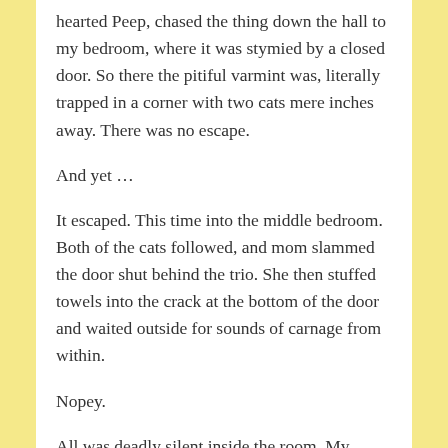hearted Peep, chased the thing down the hall to my bedroom, where it was stymied by a closed door. So there the pitiful varmint was, literally trapped in a corner with two cats mere inches away. There was no escape.
And yet …
It escaped. This time into the middle bedroom. Both of the cats followed, and mom slammed the door shut behind the trio. She then stuffed towels into the crack at the bottom of the door and waited outside for sounds of carnage from within.
Nopey.
All was deadly silent inside the room. My brother sneaked a peek a couple of times